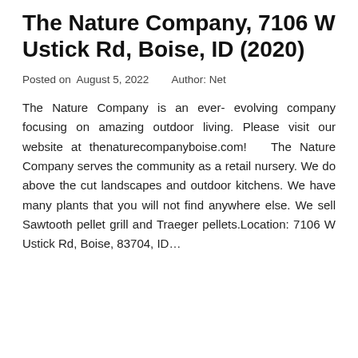The Nature Company, 7106 W Ustick Rd, Boise, ID (2020)
Posted on  August 5, 2022    Author: Net
The Nature Company is an ever- evolving company focusing on amazing outdoor living. Please visit our website at thenaturecompanyboise.com!  The Nature Company serves the community as a retail nursery. We do above the cut landscapes and outdoor kitchens. We have many plants that you will not find anywhere else. We sell Sawtooth pellet grill and Traeger pellets.Location: 7106 W Ustick Rd, Boise, 83704, ID...